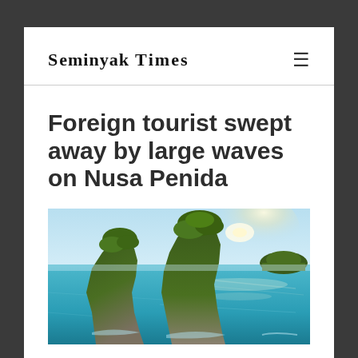SEMINYAK TIMES
Foreign tourist swept away by large waves on Nusa Penida
[Figure (photo): Aerial view of large rocky island formations rising from turquoise ocean water near Nusa Penida, Bali, with sunlight reflecting off the sea surface and smaller islands visible in the background.]